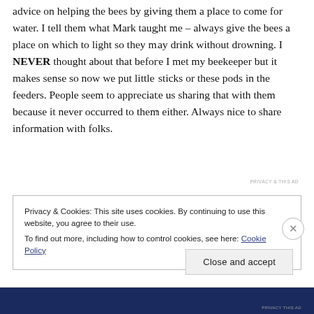advice on helping the bees by giving them a place to come for water. I tell them what Mark taught me – always give the bees a place on which to light so they may drink without drowning. I NEVER thought about that before I met my beekeeper but it makes sense so now we put little sticks or these pods in the feeders. People seem to appreciate us sharing that with them because it never occurred to them either. Always nice to share information with folks.
Privacy & Cookies: This site uses cookies. By continuing to use this website, you agree to their use.
To find out more, including how to control cookies, see here: Cookie Policy